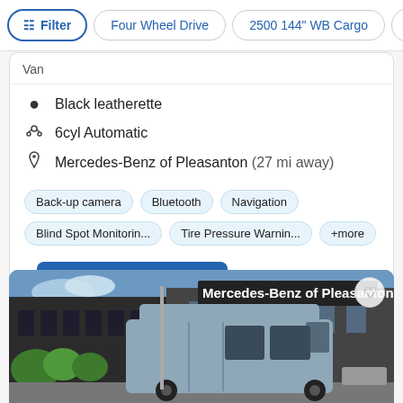Filter | Four Wheel Drive | 2500 144" WB Cargo | >
Van
Black leatherette
6cyl Automatic
Mercedes-Benz of Pleasanton (27 mi away)
Back-up camera
Bluetooth
Navigation
Blind Spot Monitorin...
Tire Pressure Warnin...
+more
Check Availability
[Figure (photo): Photo of a silver Mercedes-Benz van (high roof cargo van) parked in front of the Mercedes-Benz of Pleasanton dealership. Blue sky, green trees visible in the background. Dealership sign reads 'Mercedes-Benz of Pleasanton'.]